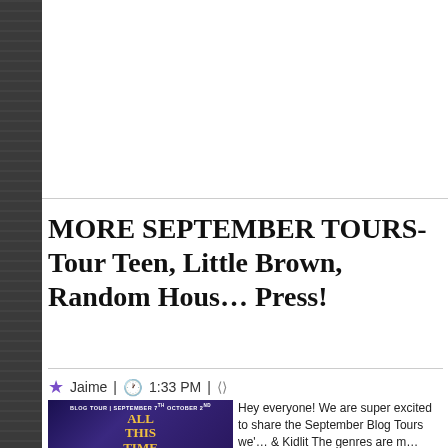MORE SEPTEMBER TOURS- Tour Teen, Little Brown, Random House Press!
Jaime | 1:33 PM |
[Figure (illustration): Book cover for 'All This Time' blog tour, September 7th to October 2nd, dark fantasy cover with night sky, characters, and floral elements]
Hey everyone! We are super excited to share the September Blog Tours we'... & Kidlit The genres are m...